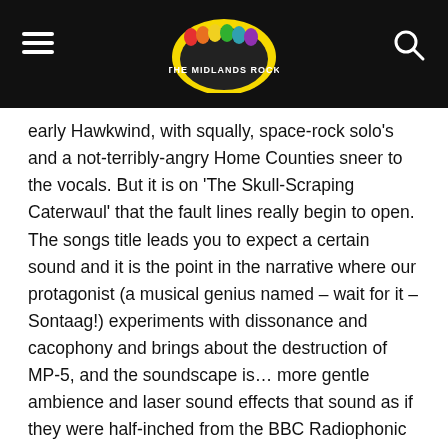The Midlands Rock (logo)
early Hawkwind, with squally, space-rock solo's and a not-terribly-angry Home Counties sneer to the vocals. But it is on 'The Skull-Scraping Caterwaul' that the fault lines really begin to open. The songs title leads you to expect a certain sound and it is the point in the narrative where our protagonist (a musical genius named – wait for it – Sontaag!) experiments with dissonance and cacophony and brings about the destruction of MP-5, and the soundscape is… more gentle ambience and laser sound effects that sound as if they were half-inched from the BBC Radiophonic Workshop.
And it was then that the other touchstones arrived in my head, the two other points of reference that this reminded me of more than anything else. Both are late 70's radio comedies, 'The Hitch Hikers Guide To The Galaxy' and